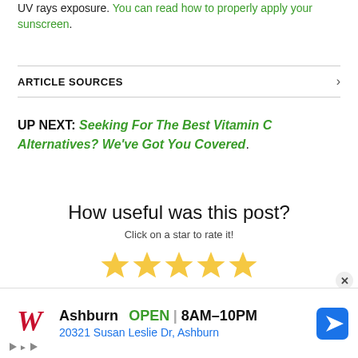UV rays exposure. You can read how to properly apply your sunscreen.
ARTICLE SOURCES
UP NEXT: Seeking For The Best Vitamin C Alternatives? We've Got You Covered.
How useful was this post?
Click on a star to rate it!
[Figure (other): Five gold star rating icons]
Average rating 5 / 5  Vote count: 2
[Figure (other): Walgreens advertisement banner: Ashburn OPEN 8AM-10PM 20321 Susan Leslie Dr, Ashburn]